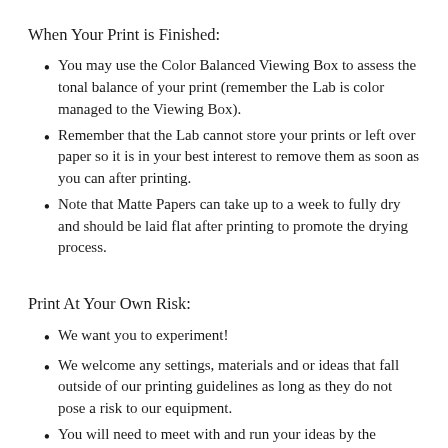When Your Print is Finished:
You may use the Color Balanced Viewing Box to assess the tonal balance of your print (remember the Lab is color managed to the Viewing Box).
Remember that the Lab cannot store your prints or left over paper so it is in your best interest to remove them as soon as you can after printing.
Note that Matte Papers can take up to a week to fully dry and should be laid flat after printing to promote the drying process.
Print At Your Own Risk:
We want you to experiment!
We welcome any settings, materials and or ideas that fall outside of our printing guidelines as long as they do not pose a risk to our equipment.
You will need to meet with and run your ideas by the Coordinator